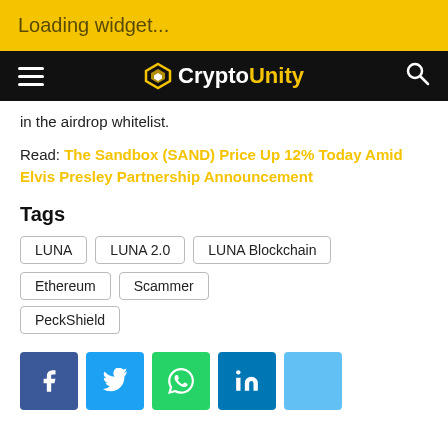Loading widget...
CryptoUnity
in the airdrop whitelist.
Read: The Sandbox (SAND) Price Up 12% Today Amid Elvis Presley Partnership Announcement
Tags
LUNA
LUNA 2.0
LUNA Blockchain
Ethereum
Scammer
PeckShield
[Figure (other): Social share buttons: Facebook, Twitter, WhatsApp, LinkedIn, Copy]